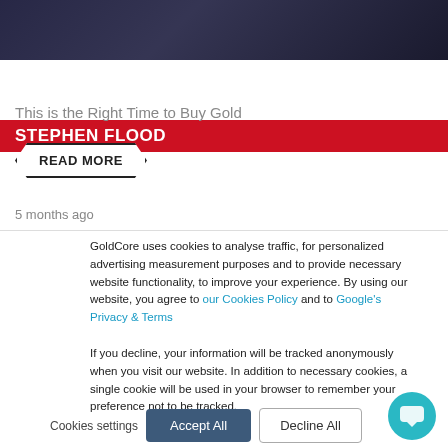[Figure (photo): Dark background photo banner of a person in a suit, partially visible at top]
STEPHEN FLOOD
This is the Right Time to Buy Gold
READ MORE
5 months ago
GoldCore uses cookies to analyse traffic, for personalized advertising measurement purposes and to provide necessary website functionality, to improve your experience. By using our website, you agree to our Cookies Policy and to Google's Privacy & Terms
If you decline, your information will be tracked anonymously when you visit our website. In addition to necessary cookies, a single cookie will be used in your browser to remember your preference not to be tracked.
Cookies settings  Accept All  Decline All